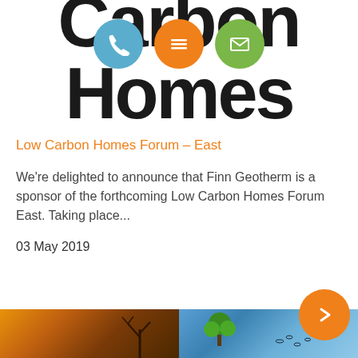[Figure (logo): Carbon Homes logo with large black bold text 'Carbon' and 'Homes', with three circular icon buttons overlaid: blue phone icon, orange menu icon, green envelope icon]
Low Carbon Homes Forum – East
We're delighted to announce that Finn Geotherm is a sponsor of the forthcoming Low Carbon Homes Forum East. Taking place...
03 May 2019
[Figure (illustration): Split image showing contrast between a barren orange/brown scorched earth on the left and a lush green earth with blue sky on the right, representing climate change]